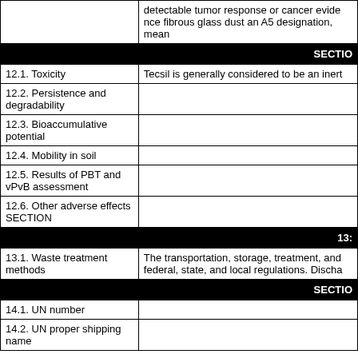|  |  |
| --- | --- |
|  | detectable tumor response or cancer evidence fibrous glass dust an A5 designation, mean |
| SECTIO |  |
| 12.1. Toxicity | Tecsil is generally considered to be an inert |
| 12.2. Persistence and degradability |  |
| 12.3. Bioaccumulative potential |  |
| 12.4. Mobility in soil |  |
| 12.5. Results of PBT and vPvB assessment |  |
| 12.6. Other adverse effects SECTION |  |
| 13: |  |
| 13.1. Waste treatment methods | The transportation, storage, treatment, and federal, state, and local regulations. Discha |
| SECTIO |  |
| 14.1. UN number |  |
| 14.2. UN proper shipping name |  |